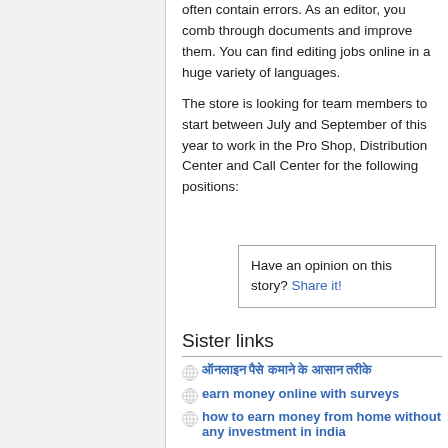often contain errors. As an editor, you comb through documents and improve them. You can find editing jobs online in a huge variety of languages.
The store is looking for team members to start between July and September of this year to work in the Pro Shop, Distribution Center and Call Center for the following positions:
Have an opinion on this story? Share it!
Sister links
ऑनलाइन पैसे कमाने के आसान तरीके
earn money online with surveys
how to earn money from home without any investment in india